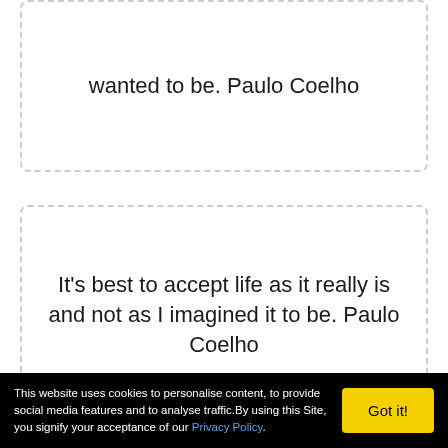wanted to be. Paulo Coelho
It's best to accept life as it really is and not as I imagined it to be. Paulo Coelho
This website uses cookies to personalise content, to provide social media features and to analyse traffic.By using this Site, you signify your acceptance of our Privacy Policy.